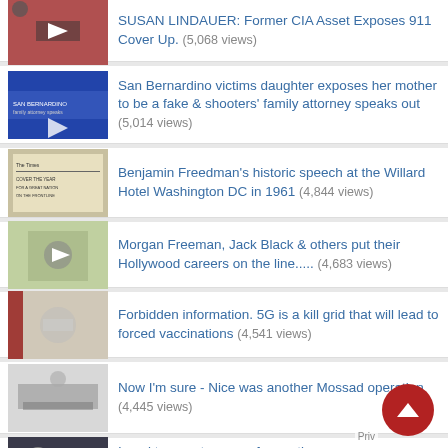SUSAN LINDAUER: Former CIA Asset Exposes 911 Cover Up. (5,068 views)
San Bernardino victims daughter exposes her mother to be a fake & shooters' family attorney speaks out (5,014 views)
Benjamin Freedman's historic speech at the Willard Hotel Washington DC in 1961 (4,844 views)
Morgan Freeman, Jack Black & others put their Hollywood careers on the line..... (4,683 views)
Forbidden information. 5G is a kill grid that will lead to forced vaccinations (4,541 views)
Now I'm sure - Nice was another Mossad operation (4,445 views)
Israel to arrest anyone for posting content deemed 'Anti-Israel' on Facebook (4,234 views)
(partial item visible at bottom)